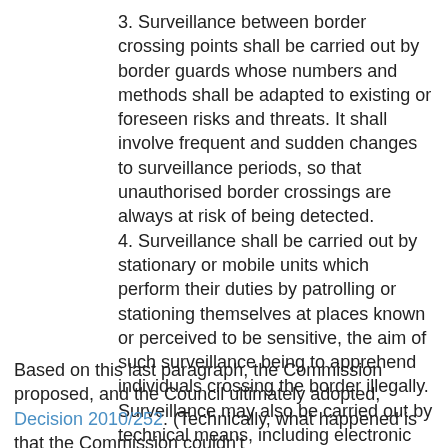3. Surveillance between border crossing points shall be carried out by border guards whose numbers and methods shall be adapted to existing or foreseen risks and threats. It shall involve frequent and sudden changes to surveillance periods, so that unauthorised border crossings are always at risk of being detected.
4. Surveillance shall be carried out by stationary or mobile units which perform their duties by patrolling or stationing themselves at places known or perceived to be sensitive, the aim of such surveillance being to apprehend individuals crossing the border illegally. Surveillance may also be carried out by technical means, including electronic means.
5. Additional rules governing surveillance may be adopted in accordance with the procedure referred to in Article 33(2).
Based on this last paragraph, the Commission proposed, and the Council ultimately adopted, Decision 2010/252. (Technically, what happened is that the Commission couldn't